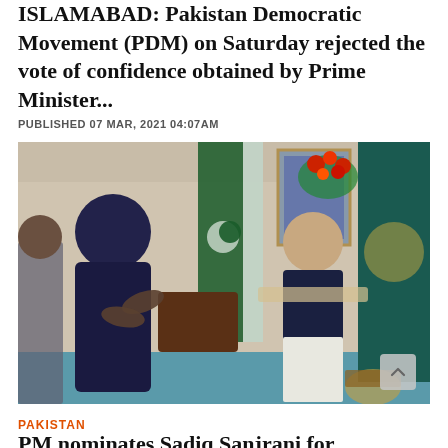ISLAMABAD: Pakistan Democratic Movement (PDM) on Saturday rejected the vote of confidence obtained by Prime Minister...
PUBLISHED 07 MAR, 2021 04:07AM
[Figure (photo): Two men seated and conversing in an official meeting room with Pakistani flags, floral arrangement, and a portrait on the wall in the background.]
PAKISTAN
PM nominates Sadiq Sanjrani for